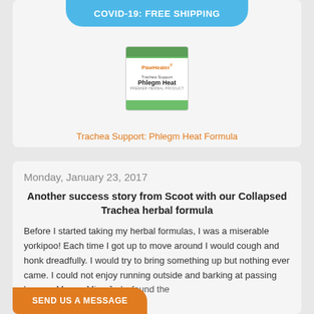COVID-19: FREE SHIPPING
[Figure (photo): PawHealer Trachea Support Phlegm Heat product container]
Trachea Support: Phlegm Heat Formula
Monday, January 23, 2017
Another success story from Scoot with our Collapsed Trachea herbal formula
Before I started taking my herbal formulas, I was a miserable yorkipoo! Each time I got up to move around I would cough and honk dreadfully. I would try to bring something up but nothing ever came. I could not enjoy running outside and barking at passing hen my Mama, Miss Judy, found the
SEND US A MESSAGE